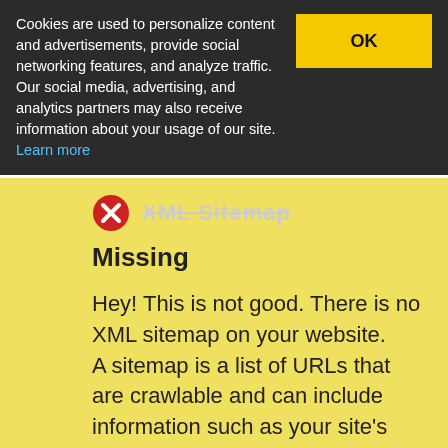Cookies are used to personalize content and advertisements, provide social networking features, and analyze traffic. Our social media, advertising, and analytics partners may also receive information about your usage of our site. Learn more
Missing
Hey! This is not good. There is no XML sitemap on your website.
A sitemap is a list of URLs that are crawlable and can include information such as your site's frequency of changes and most recent updates.
Robots.txt
http://binbincar.tn/robots.txt
Awesome, A robots.txt file exists on your website